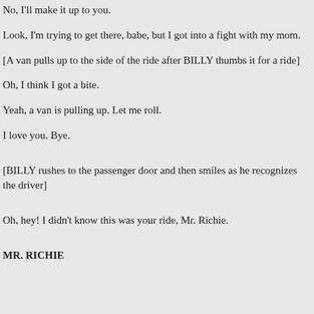No, I'll make it up to you.
Look, I'm trying to get there, babe, but I got into a fight with my mom.
[A van pulls up to the side of the ride after BILLY thumbs it for a ride]
Oh, I think I got a bite.
Yeah, a van is pulling up. Let me roll.
I love you. Bye.
[BILLY rushes to the passenger door and then smiles as he recognizes the driver]
Oh, hey! I didn't know this was your ride, Mr. Richie.
MR. RICHIE